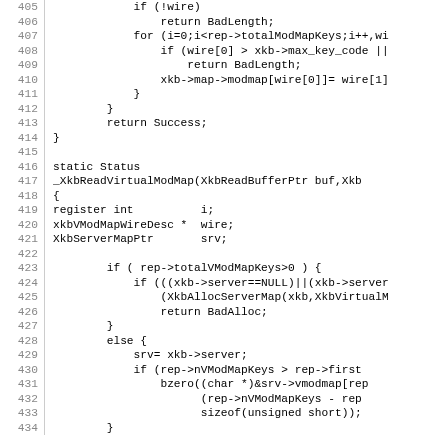[Figure (other): Source code listing lines 405-434, C programming language, showing functions for XkbReadVirtualModMap with line numbers on the left]